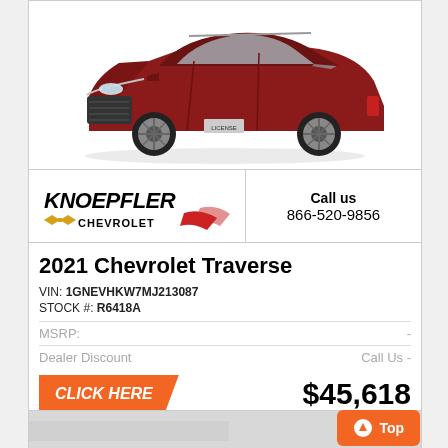[Figure (photo): Red 2021 Chevrolet Traverse SUV front three-quarter view on white background]
[Figure (logo): Knoepfler Chevrolet dealership logo with Chevrolet bowtie emblem and red swoosh]
Call us
866-520-9856
2021 Chevrolet Traverse
VIN: 1GNEVHKW7MJ213087
STOCK #: R6418A
MSRP:
Dealer Discount	Call Us
CLICK HERE
$45,618
[Figure (photo): Partial view of another vehicle listing below]